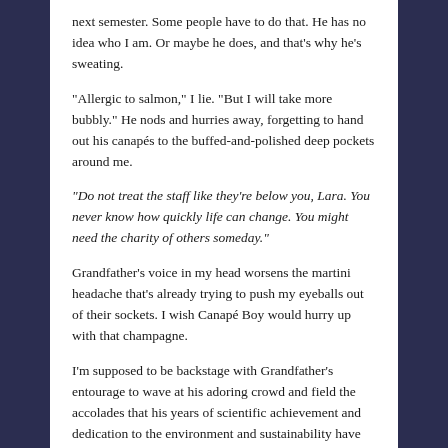next semester. Some people have to do that. He has no idea who I am. Or maybe he does, and that’s why he’s sweating.
“Allergic to salmon,” I lie. “But I will take more bubbly.” He nods and hurries away, forgetting to hand out his canapés to the buffed-and-polished deep pockets around me.
“Do not treat the staff like they’re below you, Lara. You never know how quickly life can change. You might need the charity of others someday.”
Grandfather’s voice in my head worsens the martini headache that’s already trying to push my eyeballs out of their sockets. I wish Canapé Boy would hurry up with that champagne.
I’m supposed to be backstage with Grandfather’s entourage to wave at his adoring crowd and field the accolades that his years of scientific achievement and dedication to the environment and sustainability have birthed. Just waiting for Rupert’s hail, at which time I